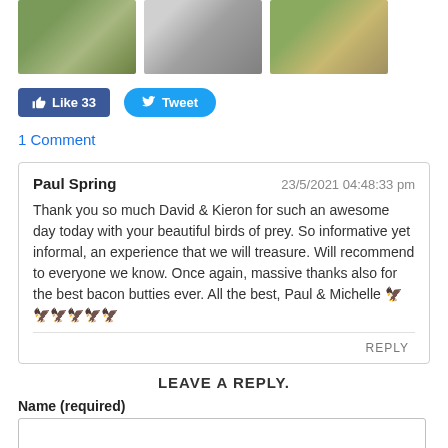[Figure (photo): Three photos in a row: a garden/mossy stone scene, a person standing near a fence, and a bird of prey on a glove.]
[Figure (infographic): Facebook Like button showing 33 likes and a Twitter Tweet button.]
1 Comment
Paul Spring    23/5/2021 04:48:33 pm
Thank you so much David & Kieron for such an awesome day today with your beautiful birds of prey. So informative yet informal, an experience that we will treasure. Will recommend to everyone we know. Once again, massive thanks also for the best bacon butties ever. All the best, Paul & Michelle 🦅🦅🦅🦅🦅🦅
REPLY
LEAVE A REPLY.
Name (required)
Email (not published)